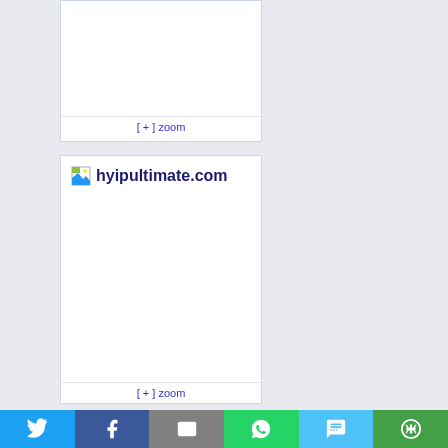[Figure (screenshot): Empty white card with a [+] zoom link at the bottom, on a light blue-grey background]
[Figure (screenshot): White card showing a small image icon and the text 'hyipultimate.com' in dark blue bold, with a [+] zoom link at the bottom]
[Figure (infographic): Social sharing bar at the bottom with Twitter (blue), Facebook (dark blue), Email (grey), WhatsApp (green), SMS (light blue), and More (green) buttons]